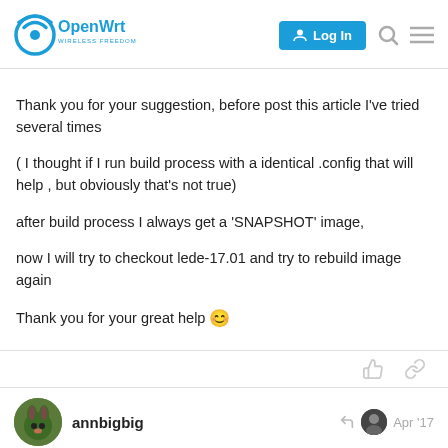OpenWrt - Log In
Thank you for your suggestion, before post this article I've tried several times
( I thought if I run build process with a identical .config that will help , but obviously that's not true)
after build process I always get a 'SNAPSHOT' image,
now I will try to checkout lede-17.01 and try to rebuild image again
Thank you for your great help 😊
annbigbig Apr '17
Dear demontefaccto
Thank you for your great help 😊
4 / 5